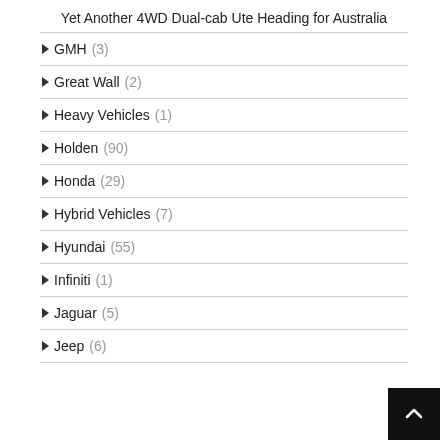Yet Another 4WD Dual-cab Ute Heading for Australia
GMH (3)
Great Wall (2)
Heavy Vehicles (1)
Holden (90)
Honda (29)
Hybrid Vehicles (7)
Hyundai (55)
Infiniti (1)
Jaguar (5)
Jeep (6)